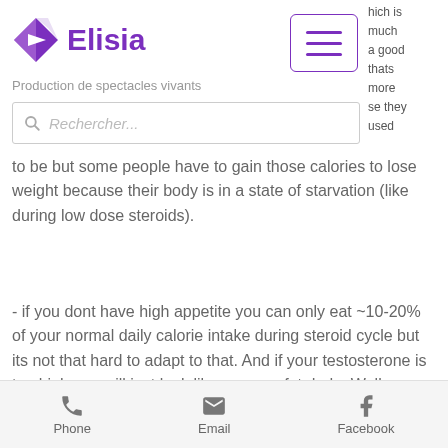[Figure (logo): Elisia logo with purple diamond icon and text 'Elisia', tagline 'Production de spectacles vivants', hamburger menu button, and search box with placeholder 'Rechercher...']
which is much a good thats more se they used to be but some people have to gain those calories to lose weight because their body is in a state of starvation (like during low dose steroids).
- if you dont have high appetite you can only eat ~10-20% of your normal daily calorie intake during steroid cycle but its not that hard to adapt to that. And if your testosterone is too high you will just look like an omg, fat dude. Well, as long as you are not on diet you will be okay.
Phone   Email   Facebook